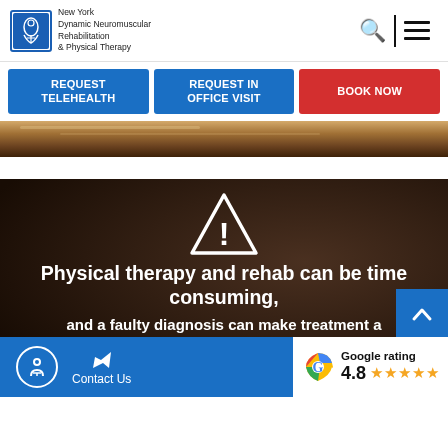New York Dynamic Neuromuscular Rehabilitation & Physical Therapy
REQUEST TELEHEALTH | REQUEST IN OFFICE VISIT | BOOK NOW
[Figure (photo): Wooden floor close-up photo at top of page]
[Figure (illustration): Warning triangle icon with exclamation mark, white outline on dark background]
Physical therapy and rehab can be time consuming, and a faulty diagnosis can make treatment a
Google rating 4.8 ★★★★★